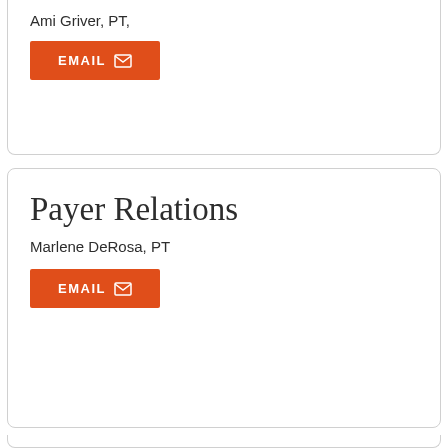Ami Griver, PT,
EMAIL
Payer Relations
Marlene DeRosa, PT
EMAIL